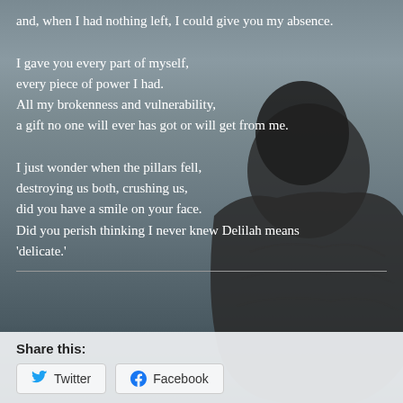and, when I had nothing left, I could give you my absence.
I gave you every part of myself,
every piece of power I had.
All my brokenness and vulnerability,
a gift no one will ever has got or will get from me.
I just wonder when the pillars fell,
destroying us both, crushing us,
did you have a smile on your face.
Did you perish thinking I never knew Delilah means
'delicate.'
Share this:
[Figure (screenshot): Twitter and Facebook share buttons]